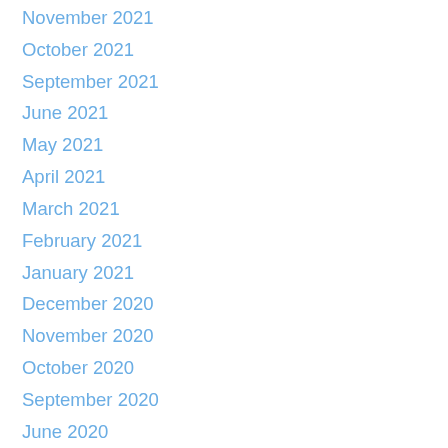November 2021
October 2021
September 2021
June 2021
May 2021
April 2021
March 2021
February 2021
January 2021
December 2020
November 2020
October 2020
September 2020
June 2020
May 2020
April 2020
March 2020
February 2020
January 2020
December 2019
November 2019
October 2019